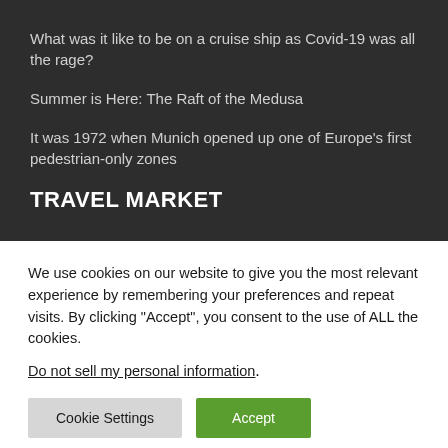What was it like to be on a cruise ship as Covid-19 was all the rage?
Summer is Here: The Raft of the Medusa
It was 1972 when Munich opened up one of Europe's first pedestrian-only zones
TRAVEL MARKET
We use cookies on our website to give you the most relevant experience by remembering your preferences and repeat visits. By clicking “Accept”, you consent to the use of ALL the cookies.
Do not sell my personal information.